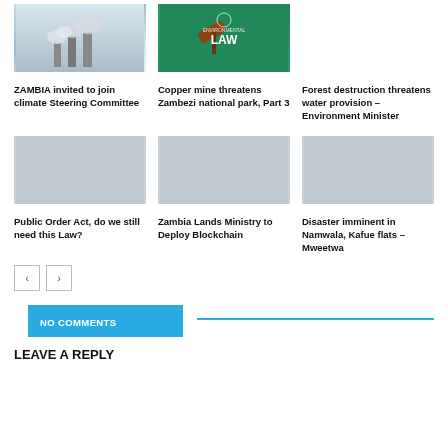[Figure (photo): Industrial smokestacks emitting smoke against cloudy sky]
[Figure (photo): Green background with Environmental Law book and gavel]
ZAMBIA invited to join climate Steering Committee
Copper mine threatens Zambezi national park, Part 3
Forest destruction threatens water provision – Environment Minister
Public Order Act, do we still need this Law?
Zambia Lands Ministry to Deploy Blockchain
Disaster imminent in Namwala, Kafue flats – Mweetwa
NO COMMENTS
LEAVE A REPLY